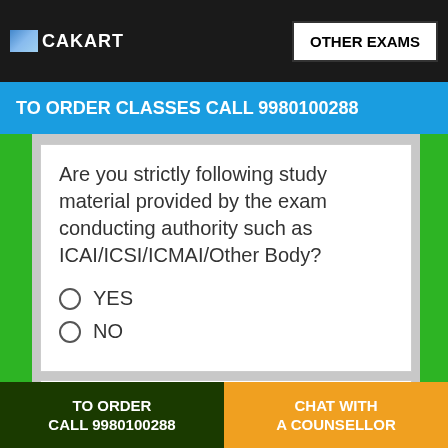CAKART | OTHER EXAMS
TO ORDER CLASSES CALL 9980100288
Are you strictly following study material provided by the exam conducting authority such as ICAI/ICSI/ICMAI/Other Body?
YES
NO
How is your health in general?
TO ORDER CALL 9980100288 | CHAT WITH A COUNSELLOR